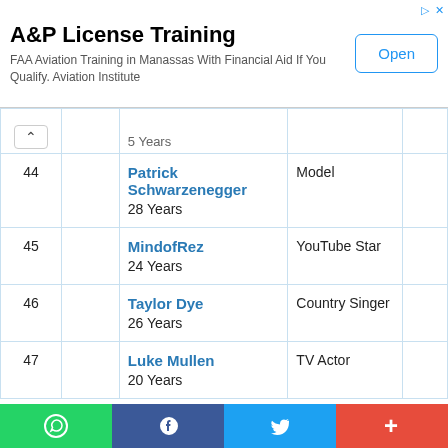[Figure (screenshot): Advertisement banner for A&P License Training. Title: 'A&P License Training'. Description: 'FAA Aviation Training in Manassas With Financial Aid If You Qualify. Aviation Institute'. With an 'Open' button on the right.]
| # |  | Name / Age | Profession |  |
| --- | --- | --- | --- | --- |
|  |  | 5 Years (partial) |  |  |
| 44 |  | Patrick Schwarzenegger
28 Years | Model |  |
| 45 |  | MindofRez
24 Years | YouTube Star |  |
| 46 |  | Taylor Dye
26 Years | Country Singer |  |
| 47 |  | Luke Mullen
20 Years | TV Actor |  |